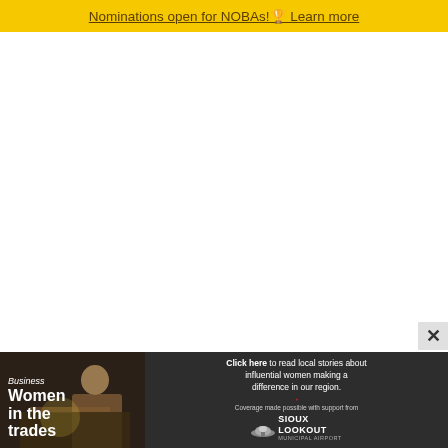Nominations open for NOBAs! Learn more
[Figure (photo): Dark advertisement banner showing a woman working in trades on the left side, with text 'Business Women in the trades' on the left panel. Right panel has text 'Click here to read local stories about influential women making a difference in our region.' with Leaders badge logo and Sioux Lookout Municipal Airport logo.]